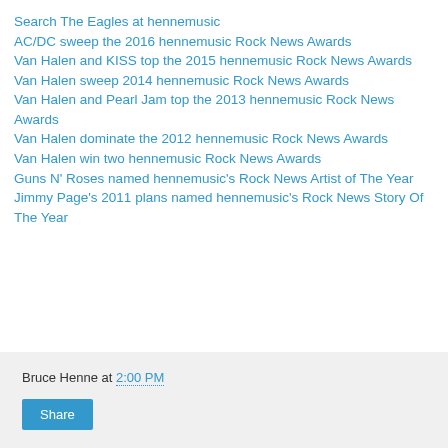Search The Eagles at hennemusic
AC/DC sweep the 2016 hennemusic Rock News Awards
Van Halen and KISS top the 2015 hennemusic Rock News Awards
Van Halen sweep 2014 hennemusic Rock News Awards
Van Halen and Pearl Jam top the 2013 hennemusic Rock News Awards
Van Halen dominate the 2012 hennemusic Rock News Awards
Van Halen win two hennemusic Rock News Awards
Guns N' Roses named hennemusic's Rock News Artist of The Year
Jimmy Page's 2011 plans named hennemusic's Rock News Story Of The Year
Bruce Henne at 2:00 PM